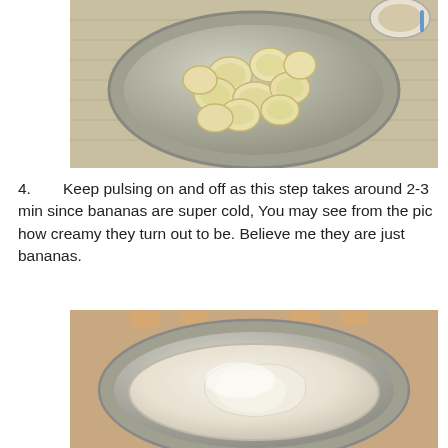[Figure (photo): Top-down view of a metal bowl containing sliced frozen banana pieces on a cloth surface, with a small dish visible in upper right corner]
4. Keep pulsing on and off as this step takes around 2-3 min since bananas are super cold, You may see from the pic how creamy they turn out to be. Believe me they are just bananas.
[Figure (photo): Top-down view of a metal bowl containing creamy blended banana ice cream, white and smooth in texture, held by a hand]